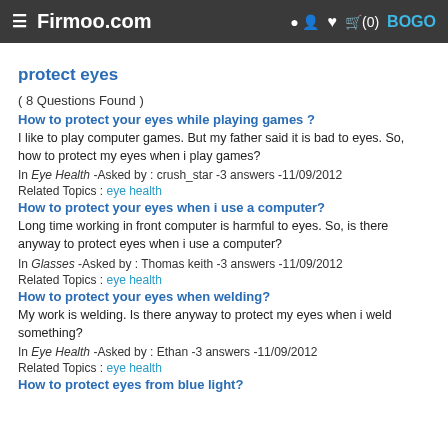≡ Firmoo.com   👤 ♥ 🛒(0)  BOGO
protect eyes
( 8 Questions Found )
How to protect your eyes while playing games ?
I like to play computer games. But my father said it is bad to eyes. So, how to protect my eyes when i play games?
In Eye Health -Asked by : crush_star -3 answers -11/09/2012
Related Topics : eye health
How to protect your eyes when i use a computer?
Long time working in front computer is harmful to eyes. So, is there anyway to protect eyes when i use a computer?
In Glasses -Asked by : Thomas keith -3 answers -11/09/2012
Related Topics : eye health
How to protect your eyes when welding?
My work is welding. Is there anyway to protect my eyes when i weld something?
In Eye Health -Asked by : Ethan -3 answers -11/09/2012
Related Topics : eye health
How to protect eyes from blue light?